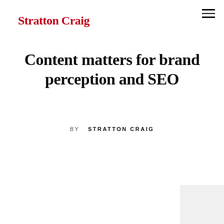Stratton Craig
Content matters for brand perception and SEO
BY  STRATTON CRAIG